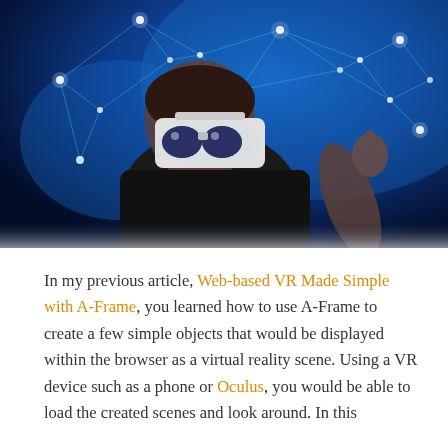[Figure (photo): A man wearing a VR headset (white virtual reality goggles) dressed in a black shirt, reaching out with one hand against a dark blue background with glowing white network/constellation nodes and connecting lines.]
In my previous article, Web-based VR Made Simple with A-Frame, you learned how to use A-Frame to create a few simple objects that would be displayed within the browser as a virtual reality scene. Using a VR device such as a phone or Oculus, you would be able to load the created scenes and look around. In this